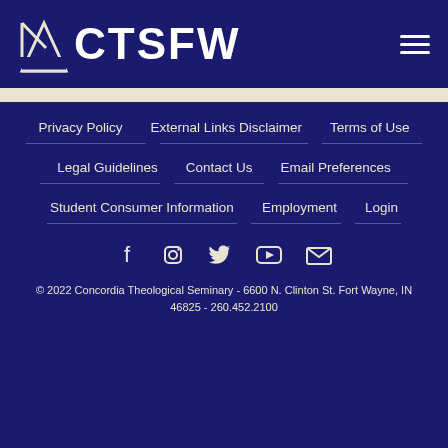CTSFW
Privacy Policy    External Links Disclaimer    Terms of Use
Legal Guidelines    Contact Us    Email Preferences
Student Consumer Information    Employment    Login
[Figure (illustration): Social media icons: Facebook, Instagram, Twitter, YouTube, Email]
© 2022 Concordia Theological Seminary - 6600 N. Clinton St. Fort Wayne, IN 46825 - 260.452.2100